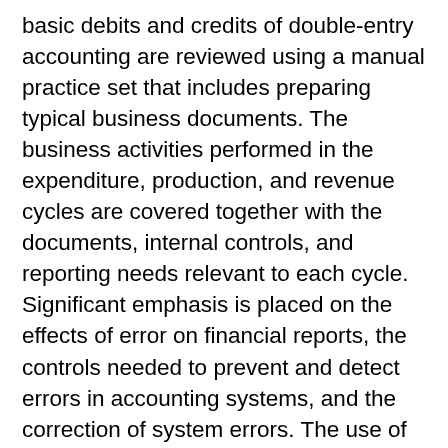basic debits and credits of double-entry accounting are reviewed using a manual practice set that includes preparing typical business documents. The business activities performed in the expenditure, production, and revenue cycles are covered together with the documents, internal controls, and reporting needs relevant to each cycle. Significant emphasis is placed on the effects of error on financial reports, the controls needed to prevent and detect errors in accounting systems, and the correction of system errors. The use of small business accounting software is introduced. Students use accounting software to set up accounts, process transactions, and produce managerial and standard financial accounting reports. Prerequisites: ACC 211 (C- or higher), ACC 301(or concurrent), and junior standing. Credits: 3